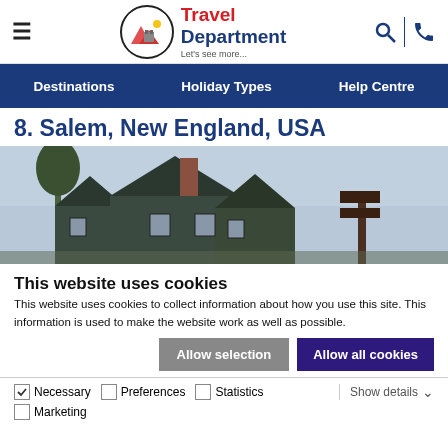Travel Department — Let's see more...
Destinations | Holiday Types | Help Centre
8. Salem, New England, USA
[Figure (photo): Dark colonial-style wooden houses with peaked gable roofs and a wooden sign post, Salem Massachusetts]
This website uses cookies
This website uses cookies to collect information about how you use this site. This information is used to make the website work as well as possible.
Allow selection | Allow all cookies
Necessary | Preferences | Statistics | Marketing | Show details